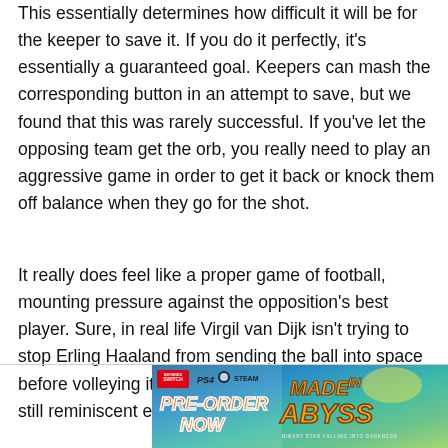This essentially determines how difficult it will be for the keeper to save it. If you do it perfectly, it's essentially a guaranteed goal. Keepers can mash the corresponding button in an attempt to save, but we found that this was rarely successful. If you've let the opposing team get the orb, you really need to play an aggressive game in order to get it back or knock them off balance when they go for the shot.
It really does feel like a proper game of football, mounting pressure against the opposition's best player. Sure, in real life Virgil van Dijk isn't trying to stop Erling Haaland from sending the ball into space before volleying it through a crowd of Toads, but it's still reminiscent enough of the real game of
[Figure (illustration): Advertisement banner for 'Made in Abyss' game showing Nintendo Switch, PS4, and Steam platform logos, with 'PRE-ORDER NOW' text in orange and the game title 'MADE IN ABYSS' in stylized orange lettering on a gradient blue-green background with landscape imagery. Subtitle reads 'BINARY STAR FALLING INTO DARKNESS'.]